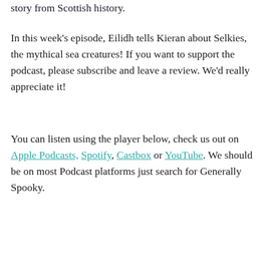story from Scottish history.
In this week's episode, Eilidh tells Kieran about Selkies, the mythical sea creatures! If you want to support the podcast, please subscribe and leave a review. We'd really appreciate it!
You can listen using the player below, check us out on Apple Podcasts, Spotify, Castbox or YouTube. We should be on most Podcast platforms just search for Generally Spooky.